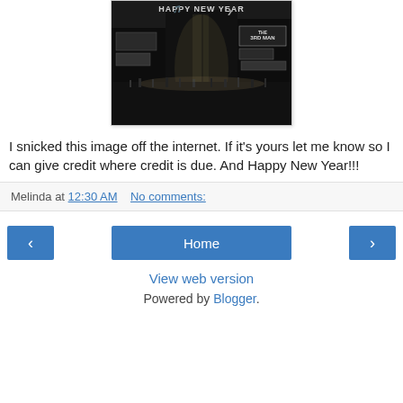[Figure (photo): Black and white photo of Times Square at night with 'Happy New Year' text overlay, crowds and illuminated billboards visible including 'The 3rd Man']
I snicked this image off the internet. If it's yours let me know so I can give credit where credit is due. And Happy New Year!!!
Melinda at 12:30 AM   No comments:
Home
View web version
Powered by Blogger.